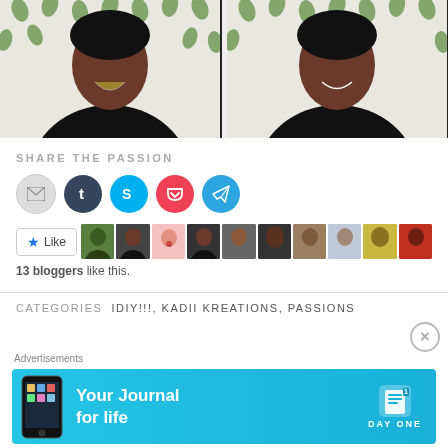[Figure (photo): Two side-by-side photos of a smiling Black woman wearing a black 'self-love' t-shirt in front of a white background with green leaf pattern. Left photo: laughing with fist near chin. Right photo: smiling directly at camera.]
SHARE THE PASSION
[Figure (infographic): Row of social sharing icon buttons: email (gray), Tumblr (dark blue), Skype (light blue), Pocket (red), Telegram (blue)]
[Figure (infographic): Like button and strip of 10 blogger avatar thumbnails]
13 bloggers like this.
CATEGORIES  IDIY!!!, KADII KREATIONS, PASSIONS
Advertisements
[Figure (photo): Day One app advertisement banner: cyan/blue background with 'Your Journal for life' text and Day One logo with notebook icon]